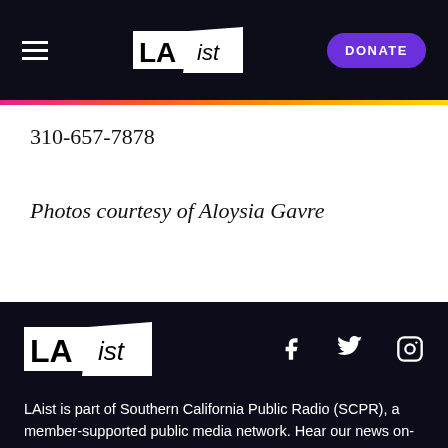LAist — DONATE
310-657-7878
Photos courtesy of Aloysia Gavre
[Figure (logo): LAist logo in footer with Facebook, Twitter, and Instagram social icons]
LAist is part of Southern California Public Radio (SCPR), a member-supported public media network. Hear our news on-air at our partner site: